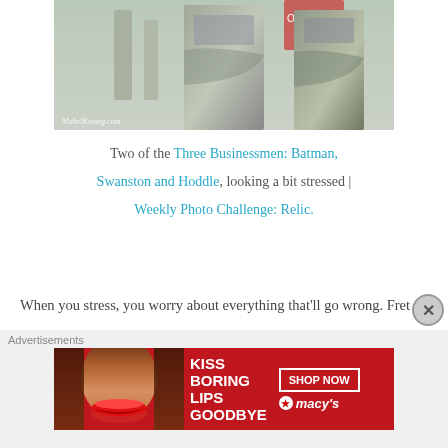[Figure (photo): Two metallic businessman statues photographed outdoors on a street, with urban background. Watermark: MabelKwong.com]
Two of the Three Businessmen: Batman, Swanston and Hoddle, looking a bit stressed | Weekly Photo Challenge: Relic.
When you stress, you worry about everything that'll go wrong. Fret over how things might not get done in time. Feel over-worked.
[Figure (photo): Advertisement banner: KISS BORING LIPS GOODBYE | SHOP NOW | macy's. Shows close-up of woman's face with red lips on red background.]